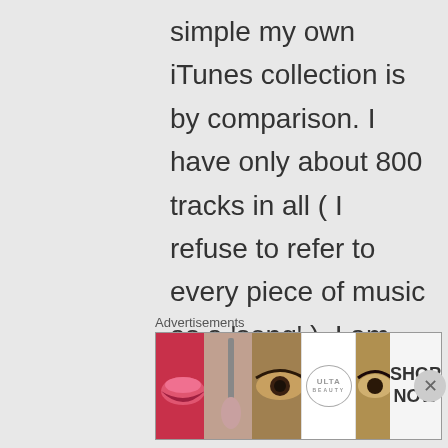simple my own iTunes collection is by comparison. I have only about 800 tracks in all ( I refuse to refer to every piece of music as a 'song' ). I am now in the fortunate position of having two computers running iTunes, so I am able to do some
Advertisements
[Figure (photo): Advertisement banner for ULTA beauty products showing close-up images of makeup (lips, brush, eye), ULTA logo, and 'SHOP NOW' call to action]